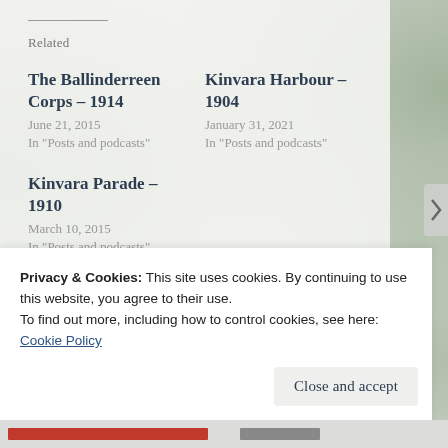Related
The Ballinderreen Corps – 1914
June 21, 2015
In "Posts and podcasts"
Kinvara Harbour – 1904
January 31, 2021
In "Posts and podcasts"
Kinvara Parade – 1910
March 10, 2015
In "Posts and podcasts"
Privacy & Cookies: This site uses cookies. By continuing to use this website, you agree to their use.
To find out more, including how to control cookies, see here: Cookie Policy
Close and accept